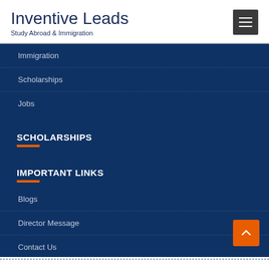Inventive Leads
Study Abroad & Immigration
Immigration
Scholarships
Jobs
SCHOLARSHIPS
IMPORTANT LINKS
Blogs
Director Message
Contact Us